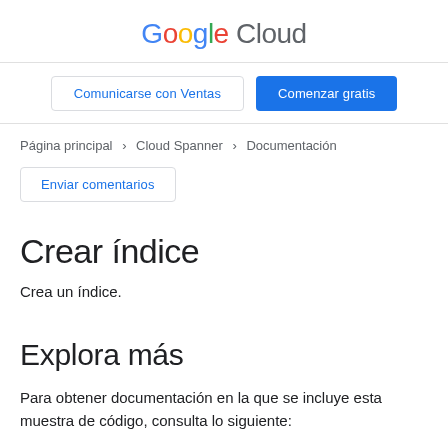Google Cloud
Comunicarse con Ventas  |  Comenzar gratis
Página principal > Cloud Spanner > Documentación
Enviar comentarios
Crear índice
Crea un índice.
Explora más
Para obtener documentación en la que se incluye esta muestra de código, consulta lo siguiente: